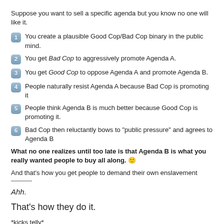Suppose you want to sell a specific agenda but you know no one will like it.
You create a plausible Good Cop/Bad Cop binary in the public mind.
You get Bad Cop to aggressively promote Agenda A.
You get Good Cop to oppose Agenda A and promote Agenda B.
People naturally resist Agenda A because Bad Cop is promoting it
People think Agenda B is much better because Good Cop is promoting it.
Bad Cop then reluctantly bows to "public pressure" and agrees to Agenda B
What no one realizes until too late is that Agenda B is what you really wanted people to buy all along. 🙂
And that's how you get people to demand their own enslavement
Ahh.
That's how they do it.
*kicks telly*